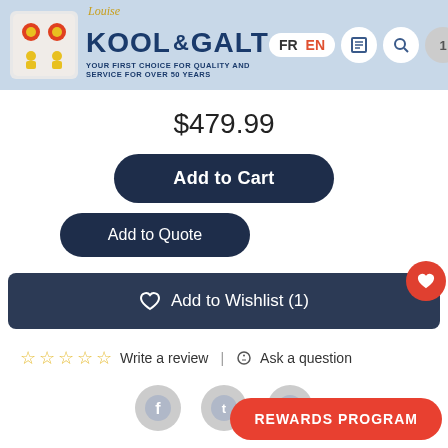[Figure (logo): Louise Kool & Galt logo with red/yellow icon and blue text. Tagline: YOUR FIRST CHOICE FOR QUALITY AND SERVICE FOR OVER 50 YEARS]
$479.99
Add to Cart
Add to Quote
♡ Add to Wishlist (1)
☆☆☆☆☆ Write a review | ☺ Ask a question
[Figure (illustration): Facebook, Twitter, Pinterest social icons]
REWARDS PROGRAM